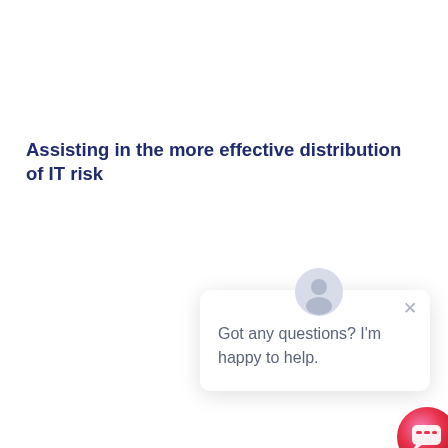Assisting in the more effective distribution of IT risk
[Figure (screenshot): Chat widget popup with avatar icon, close button (×), and text 'Got any questions? I'm happy to help.' with a circular gradient chat button (pink to red) in the bottom right corner.]